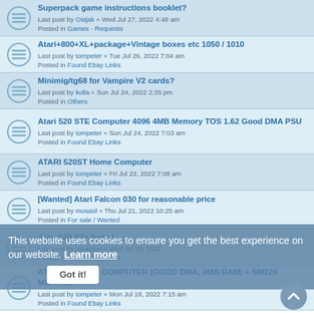Superpack game instructions booklet?
Last post by Ostjak « Wed Jul 27, 2022 4:48 am
Posted in Games - Requests
Atari+800+XL+package+Vintage boxes etc 1050 / 1010
Last post by tompeter « Tue Jul 26, 2022 7:04 am
Posted in Found Ebay Links
Minimig/tg68 for Vampire V2 cards?
Last post by kolla « Sun Jul 24, 2022 2:35 pm
Posted in Others
Atari 520 STE Computer 4096 4MB Memory TOS 1.62 Good DMA PSU
Last post by tompeter « Sun Jul 24, 2022 7:03 am
Posted in Found Ebay Links
ATARI 520ST Home Computer
Last post by tompeter « Fri Jul 22, 2022 7:08 am
Posted in Found Ebay Links
[Wanted] Atari Falcon 030 for reasonable price
Last post by mosaid « Thu Jul 21, 2022 10:25 am
Posted in For sale / Wanted
Atari 520 STe boxed
Last post by tompeter « Wed Jul 20, 2022 [time]
Posted in Found Ebay Links
ATARI 1040 STE COMPUTER (GOOD DMA, 4MB RAM) + SM124 MONITOR
Last post by tompeter « Mon Jul 18, 2022 7:15 am
Posted in Found Ebay Links
This website uses cookies to ensure you get the best experience on our website. Learn more
Got it!